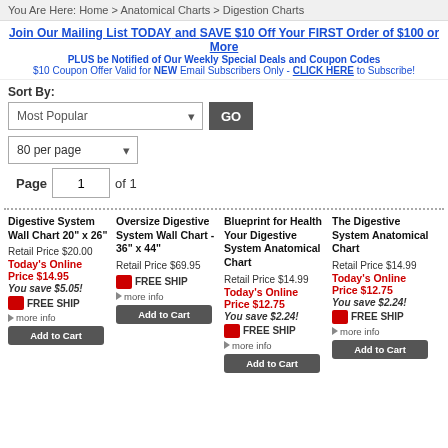You Are Here: Home > Anatomical Charts > Digestion Charts
Join Our Mailing List TODAY and SAVE $10 Off Your FIRST Order of $100 or More
PLUS be Notified of Our Weekly Special Deals and Coupon Codes
$10 Coupon Offer Valid for NEW Email Subscribers Only - CLICK HERE to Subscribe!
Sort By:
Most Popular  GO
80 per page
Page 1 of 1
Digestive System Wall Chart 20" x 26"
Retail Price $20.00
Today's Online Price $14.95
You save $5.05!
FREE SHIP
more info
Add to Cart
Oversize Digestive System Wall Chart - 36" x 44"
Retail Price $69.95
FREE SHIP
more info
Add to Cart
Blueprint for Health Your Digestive System Anatomical Chart
Retail Price $14.99
Today's Online Price $12.75
You save $2.24!
FREE SHIP
more info
Add to Cart
The Digestive System Anatomical Chart
Retail Price $14.99
Today's Online Price $12.75
You save $2.24!
FREE SHIP
more info
Add to Cart